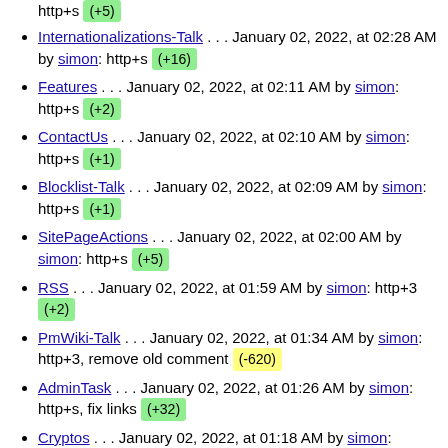Internationalizations-Talk . . . January 02, 2022, at 02:28 AM by simon: http+s (+16)
Features . . . January 02, 2022, at 02:11 AM by simon: http+s (+2)
ContactUs . . . January 02, 2022, at 02:10 AM by simon: http+s (+1)
Blocklist-Talk . . . January 02, 2022, at 02:09 AM by simon: http+s (+1)
SitePageActions . . . January 02, 2022, at 02:00 AM by simon: http+s (+5)
RSS . . . January 02, 2022, at 01:59 AM by simon: http+3 (+2)
PmWiki-Talk . . . January 02, 2022, at 01:34 AM by simon: http+3, remove old comment (-620)
AdminTask . . . January 02, 2022, at 01:26 AM by simon: http+s, fix links (+32)
Cryptos . . . January 02, 2022, at 01:18 AM by simon: